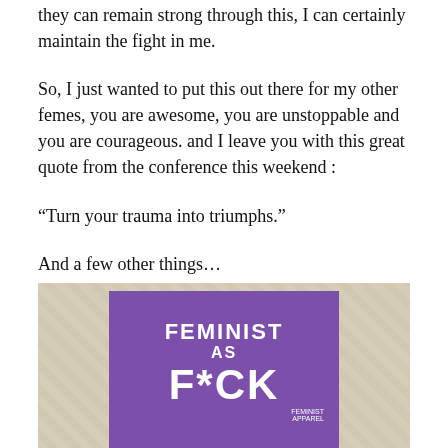they can remain strong through this, I can certainly maintain the fight in me.
So, I just wanted to put this out there for my other femes, you are awesome, you are unstoppable and you are courageous. and I leave you with this great quote from the conference this weekend :
“Turn your trauma into triumphs.”
And a few other things…
[Figure (photo): Photo of two signs against a floral wallpaper background. The top sign is purple with white text reading 'FEMINIST AS F*CK'. The bottom sign is red with white text reading 'RESPECT'.]